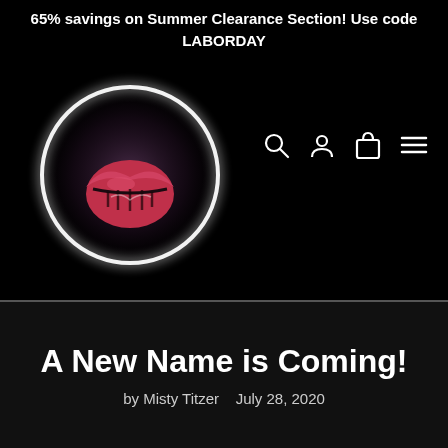65% savings on Summer Clearance Section! Use code LABORDAY
[Figure (logo): Brand logo: a red lips/kiss mark inside a glowing white neon circle on black background, with navigation icons (search, account, bag, menu) to the right]
A New Name is Coming!
by Misty Titzer   July 28, 2020